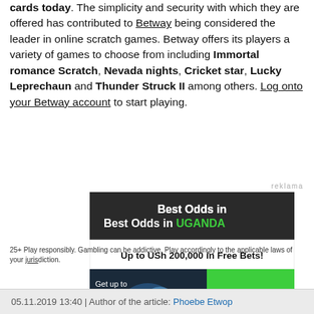cards today. The simplicity and security with which they are offered has contributed to Betway being considered the leader in online scratch games. Betway offers its players a variety of games to choose from including Immortal romance Scratch, Nevada nights, Cricket star, Lucky Leprechaun and Thunder Struck II among others. Log onto your Betway account to start playing.
[Figure (illustration): Betway advertisement banner: 'Best Odds in UGANDA', 'Up to USh 200,000 in Free Bets!', with rugby players image, 'CLAIM NOW' green button, 'betway' logo and 'Bet Now' green pill button]
25+ Play responsibly. Gambling can be addictive. Play accordingly to the applicable laws of your jurisdiction.
05.11.2019 13:40 | Author of the article: Phoebe Etwop